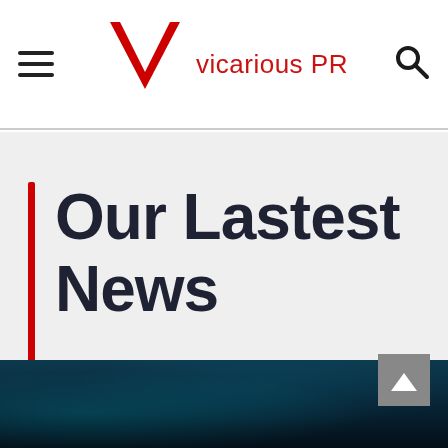Vicarious PR
Our Lastest News
[Figure (photo): Dark teal/blue abstract background image, partially visible at bottom of page]